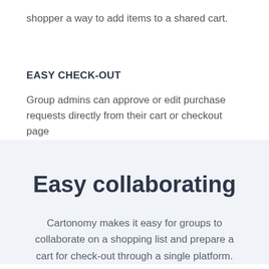shopper a way to add items to a shared cart.
EASY CHECK-OUT
Group admins can approve or edit purchase requests directly from their cart or checkout page
Easy collaborating
Cartonomy makes it easy for groups to collaborate on a shopping list and prepare a cart for check-out through a single platform.